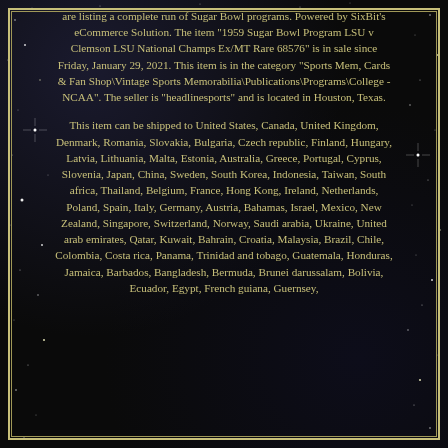are listing a complete run of Sugar Bowl programs. Powered by SixBit's eCommerce Solution. The item "1959 Sugar Bowl Program LSU v Clemson LSU National Champs Ex/MT Rare 68576" is in sale since Friday, January 29, 2021. This item is in the category "Sports Mem, Cards & Fan Shop\Vintage Sports Memorabilia\Publications\Programs\College - NCAA". The seller is "headlinesports" and is located in Houston, Texas.
This item can be shipped to United States, Canada, United Kingdom, Denmark, Romania, Slovakia, Bulgaria, Czech republic, Finland, Hungary, Latvia, Lithuania, Malta, Estonia, Australia, Greece, Portugal, Cyprus, Slovenia, Japan, China, Sweden, South Korea, Indonesia, Taiwan, South africa, Thailand, Belgium, France, Hong Kong, Ireland, Netherlands, Poland, Spain, Italy, Germany, Austria, Bahamas, Israel, Mexico, New Zealand, Singapore, Switzerland, Norway, Saudi arabia, Ukraine, United arab emirates, Qatar, Kuwait, Bahrain, Croatia, Malaysia, Brazil, Chile, Colombia, Costa rica, Panama, Trinidad and tobago, Guatemala, Honduras, Jamaica, Barbados, Bangladesh, Bermuda, Brunei darussalam, Bolivia, Ecuador, Egypt, French guiana, Guernsey,